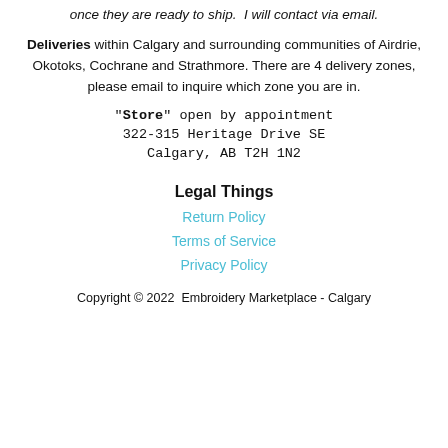once they are ready to ship.  I will contact via email.
Deliveries within Calgary and surrounding communities of Airdrie, Okotoks, Cochrane and Strathmore. There are 4 delivery zones, please email to inquire which zone you are in.
"Store" open by appointment
322-315 Heritage Drive SE
Calgary, AB T2H 1N2
Legal Things
Return Policy
Terms of Service
Privacy Policy
Copyright © 2022  Embroidery Marketplace - Calgary